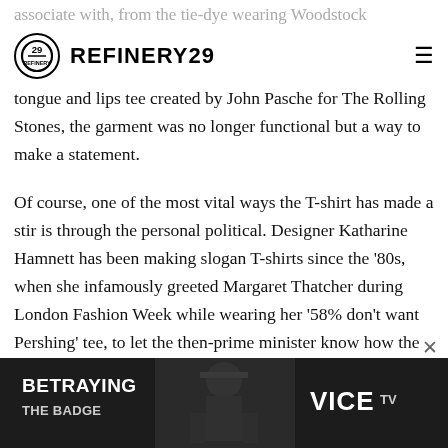associate with, from the tie-dye wearing Woodstock
REFINERY29
tongue and lips tee created by John Pasche for The Rolling Stones, the garment was no longer functional but a way to make a statement.
Of course, one of the most vital ways the T-shirt has made a stir is through the personal political. Designer Katharine Hamnett has been making slogan T-shirts since the '80s, when she infamously greeted Margaret Thatcher during London Fashion Week while wearing her '58% don't want Pershing' tee, to let the then-prime minister know how the majority of the UK felt about the relocation of US missiles to UK soil.
[Figure (screenshot): Advertisement banner for VICE TV show 'Betraying the Badge' showing a dark grayscale image of a police officer with the show title text overlay]